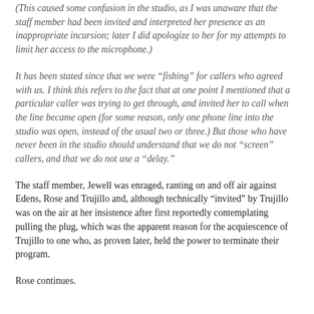(This caused some confusion in the studio, as I was unaware that the staff member had been invited and interpreted her presence as an inappropriate incursion; later I did apologize to her for my attempts to limit her access to the microphone.)
It has been stated since that we were “fishing” for callers who agreed with us. I think this refers to the fact that at one point I mentioned that a particular caller was trying to get through, and invited her to call when the line became open (for some reason, only one phone line into the studio was open, instead of the usual two or three.) But those who have never been in the studio should understand that we do not “screen” callers, and that we do not use a “delay.”
The staff member, Jewell was enraged, ranting on and off air against Edens, Rose and Trujillo and, although technically “invited” by Trujillo was on the air at her insistence after first reportedly contemplating pulling the plug, which was the apparent reason for the acquiescence of Trujillo to one who, as proven later, held the power to terminate their program.
Rose continues.